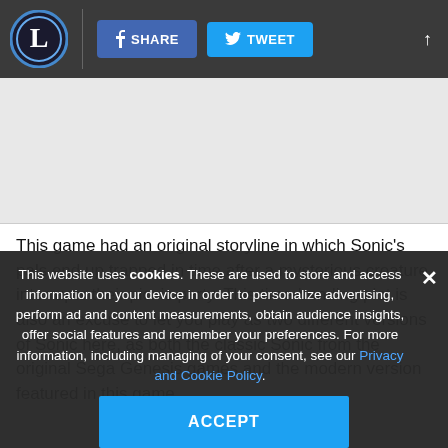L | SHARE | TWEET
[Figure (other): Advertisement placeholder area (light gray)]
This game had an original storyline in which Sonic's pals end up trapped in time after a mysterious creature interrupts their picnic party. This time-bending plot is also an excuse to let you play as two different versions of Sonic here, as both the classic Sonic from the original Sega Genesis games and the modern version featured in this game.
This website uses cookies. These are used to store and access information on your device in order to personalize advertising, perform ad and content measurements, obtain audience insights, offer social features and remember your preferences. For more information, including managing of your consent, see our Privacy and Cookie Policy.